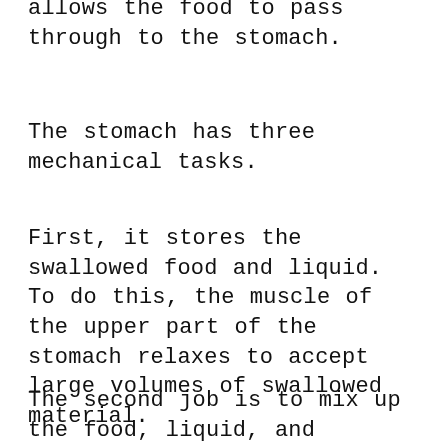allows the food to pass through to the stomach.
The stomach has three mechanical tasks.
First, it stores the swallowed food and liquid. To do this, the muscle of the upper part of the stomach relaxes to accept large volumes of swallowed material.
The second job is to mix up the food, liquid, and digestive juice produced by the stomach. The